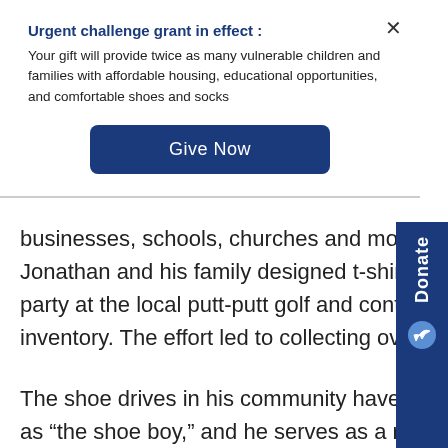Urgent challenge grant in effect :
Your gift will provide twice as many vulnerable children and families with affordable housing, educational opportunities, and comfortable shoes and socks
[Figure (other): Give Now button — dark navy blue rounded rectangle button with white text]
businesses, schools, churches and more to get involved in the shoe drive. Jonathan and his family designed t-shirts to sell and raise money, hosted a sho party at the local putt-putt golf and contacted businesses to donate any leftover inventory. The effort led to collecting over 1,000 pairs of shoes.
The shoe drives in his community have gotten so large, Jonathan is now known as “the shoe boy,” and he serves as a reminder that young age doesn’t disqualify you from being used from God: you just need a willing and ready heart … and a mission.